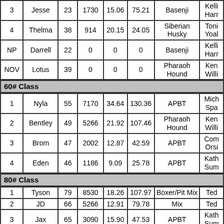| Place | Name | Wt | Pts | Avg | Tot | Breed | Owner |
| --- | --- | --- | --- | --- | --- | --- | --- |
| 3 | Jesse | 23 | 1730 | 15.06 | 75.21 | Basenji | Kelli Harr |
| 4 | Thelma | 38 | 914 | 20.15 | 24.05 | Siberian Husky | Toni Yoal |
| NP | Darrell | 22 | 0 | 0 | 0 | Basenji | Kelli Harr |
| NOV | Lotus | 39 | 0 | 0 | 0 | Pharaoh Hound | Ken Willi |
60# Class
| Place | Name | Wt | Pts | Avg | Tot | Breed | Owner |
| --- | --- | --- | --- | --- | --- | --- | --- |
| 1 | Nyla | 55 | 7170 | 34.64 | 130.36 | APBT | Mich Spa |
| 2 | Bentley | 49 | 5266 | 21.92 | 107.46 | Pharaoh Hound | Ken Willi |
| 3 | Brom | 47 | 2002 | 12.87 | 42.59 | APBT | Com Orsi |
| 4 | Eden | 46 | 1186 | 9.09 | 25.78 | APBT | Kath Sum |
80# Class
| Place | Name | Wt | Pts | Avg | Tot | Breed | Owner |
| --- | --- | --- | --- | --- | --- | --- | --- |
| 1 | Tyson | 79 | 8530 | 18.26 | 107.97 | Boxer/Pit Mix | Ted |
| 2 | JD | 66 | 5266 | 12.91 | 79.78 | Mix | Ted |
| 3 | Jax | 65 | 3090 | 15.90 | 47.53 | APBT | Kath Sum |